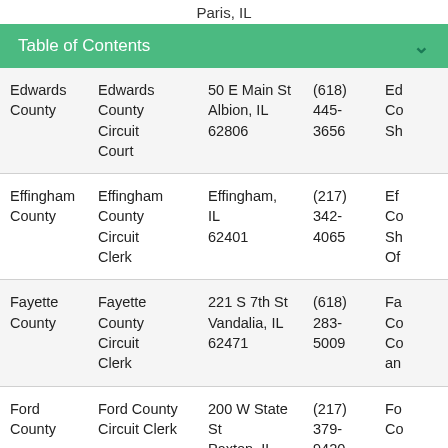Paris, IL
Table of Contents
| County | Office | Address | Phone |  |
| --- | --- | --- | --- | --- |
| Edwards County | Edwards County Circuit Court | 50 E Main St Albion, IL 62806 | (618) 445-3656 | Ed Co Sh... |
| Effingham County | Effingham County Circuit Clerk | Effingham, IL 62401 | (217) 342-4065 | Ef Co Sh Of... |
| Fayette County | Fayette County Circuit Clerk | 221 S 7th St Vandalia, IL 62471 | (618) 283-5009 | Fa Co Co an... |
| Ford County | Ford County Circuit Clerk | 200 W State St Paxton, IL 60957 | (217) 379-9420 | Fo Co... |